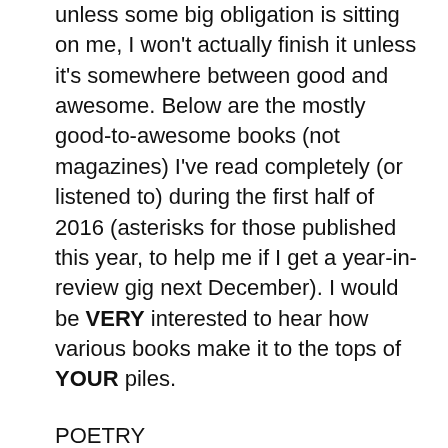unless some big obligation is sitting on me, I won't actually finish it unless it's somewhere between good and awesome. Below are the mostly good-to-awesome books (not magazines) I've read completely (or listened to) during the first half of 2016 (asterisks for those published this year, to help me if I get a year-in-review gig next December). I would be VERY interested to hear how various books make it to the tops of YOUR piles.
POETRY
1/10 White, LettERRS (review assignment)
1/18 Rankine, Citizen (reread for work event)
2/15 Stone, Poetry Comics (friend's recommendation)*